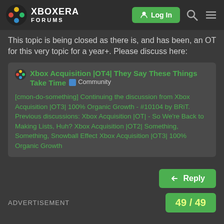XboxEra Forums — Log In
This topic is being closed as there is, and has been, an OT for this very topic for a year+. Please discuss here:
Xbox Acquisition |OT4| They Say These Things Take Time Community

[cmon-do-something] Continuing the discussion from Xbox Acquisition |OT3| 100% Organic Growth - #10104 by BRiT. Previous discussions: Xbox Acquisition |OT| - So We're Back to Making Lists, Huh? Xbox Acquisition |OT2| Something, Something, Snowball Effect Xbox Acquisition |OT3| 100% Organic Growth
Reply
ADVERTISEMENT   49 / 49